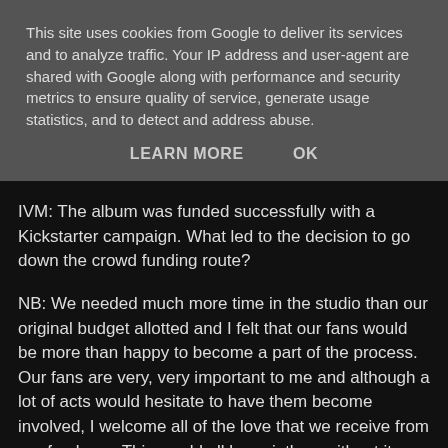This site uses cookies from Google to deliver its services and to analyze traffic. Your IP address and user-agent are shared with Google along with performance and security metrics to ensure quality of service, generate usage statistics, and to detect and address abuse.
LEARN MORE    OK
IVM: The album was funded successfully with a Kickstarter campaign. What led to the decision to go down the crowd funding route?
NB: We needed much more time in the studio than our original budget allotted and I felt that our fans would be more than happy to become a part of the process. Our fans are very, very important to me and although a lot of acts would hesitate to have them become involved, I welcome all of the love that we receive from our fan base. This would all be pointless without it.
IVM: Is it a tool that you'd be happy to continue using on future releases?